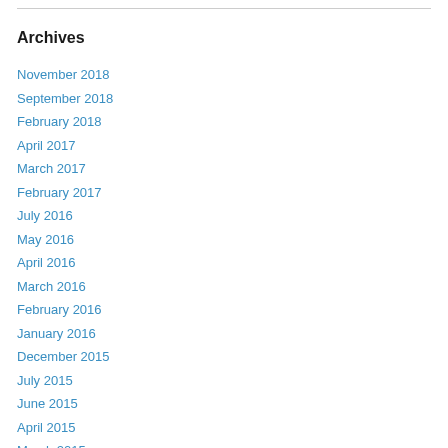Archives
November 2018
September 2018
February 2018
April 2017
March 2017
February 2017
July 2016
May 2016
April 2016
March 2016
February 2016
January 2016
December 2015
July 2015
June 2015
April 2015
March 2015